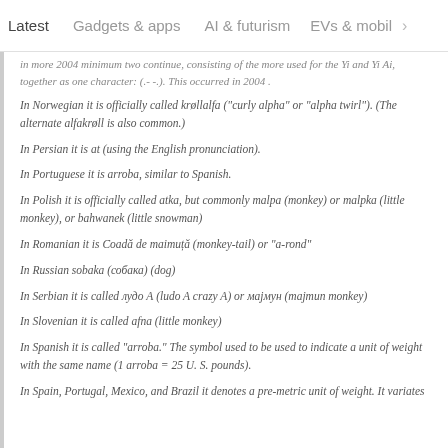Latest   Gadgets & apps   AI & futurism   EVs & mobil  >
...in more 2004 minimum two continue, consisting of the more used for the Yi and Yi Ai, together as one character: (.- -.). This occurred in 2004 .
In Norwegian it is officially called krøllalfa ("curly alpha" or "alpha twirl"). (The alternate alfakrøll is also common.)
In Persian it is at (using the English pronunciation).
In Portuguese it is arroba, similar to Spanish.
In Polish it is officially called atka, but commonly malpa (monkey) or malpka (little monkey), or bahwanek (little snowman)
In Romanian it is Coadă de maimuță (monkey-tail) or "a-rond"
In Russian sobaka (собака) (dog)
In Serbian it is called лудо А (ludo A crazy A) or мајмун (majmun monkey)
In Slovenian it is called afna (little monkey)
In Spanish it is called "arroba." The symbol used to be used to indicate a unit of weight with the same name (1 arroba = 25 U. S. pounds).
In Spain, Portugal, Mexico, and Brazil it denotes a pre-metric unit of weight. It variates...